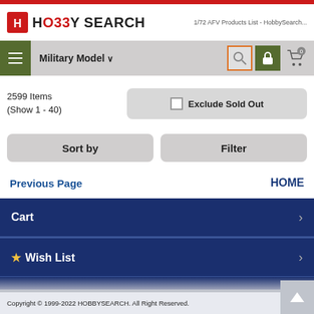HOBBY SEARCH
1/72 AFV Products List - HobbySearch...
Military Model
2599 Items
(Show 1 - 40)
Exclude Sold Out
Sort by
Filter
Previous Page
HOME
Cart
★ Wish List
Copyright © 1999-2022 HOBBYSEARCH. All Right Reserved.